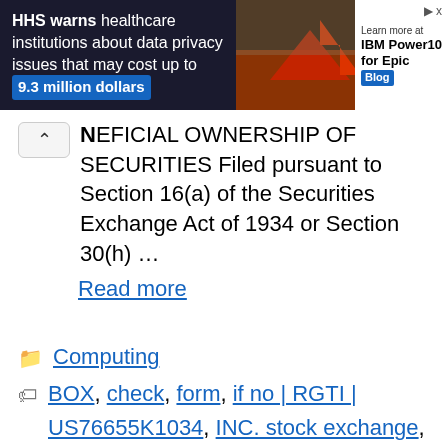[Figure (other): Advertisement banner: HHS warns healthcare institutions about data privacy issues that may cost up to 9.3 million dollars. IBM Power10 for Epic Blog ad.]
NEFICIAL OWNERSHIP OF SECURITIES Filed pursuant to Section 16(a) of the Securities Exchange Act of 1934 or Section 30(h) ...
Read more
Computing
BOX, check, form, if no | RGTI | US76655K1034, INC. stock exchange, information, NEWS, ownership, press release, Rigetti Computing, stock market today, submission, this
Leave a comment